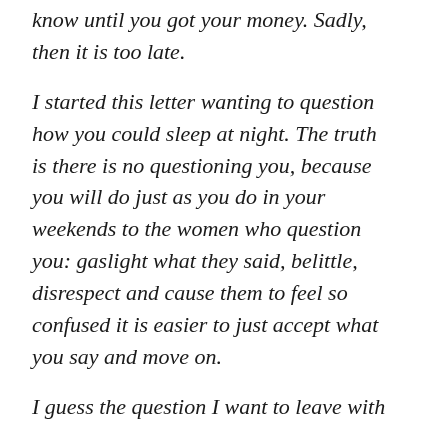know until you got your money. Sadly, then it is too late.
I started this letter wanting to question how you could sleep at night. The truth is there is no questioning you, because you will do just as you do in your weekends to the women who question you: gaslight what they said, belittle, disrespect and cause them to feel so confused it is easier to just accept what you say and move on.
I guess the question I want to leave with